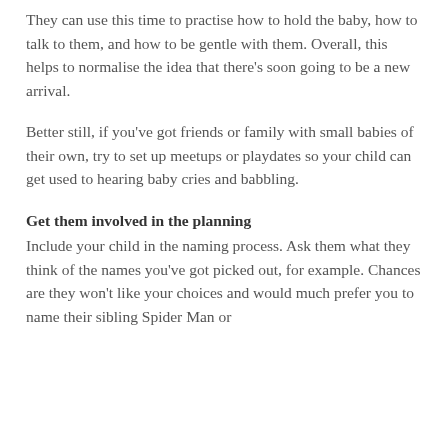They can use this time to practise how to hold the baby, how to talk to them, and how to be gentle with them. Overall, this helps to normalise the idea that there’s soon going to be a new arrival.
Better still, if you’ve got friends or family with small babies of their own, try to set up meetups or playdates so your child can get used to hearing baby cries and babbling.
Get them involved in the planning
Include your child in the naming process. Ask them what they think of the names you’ve got picked out, for example. Chances are they won’t like your choices and would much prefer you to name their sibling Spider Man or